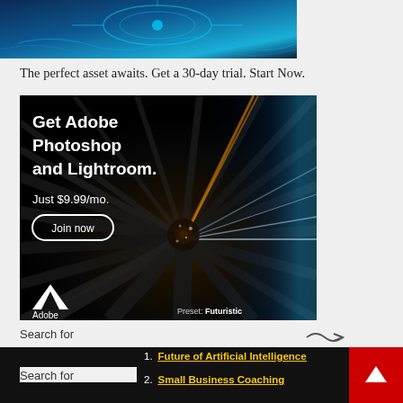[Figure (photo): Partial view of a blue-themed digital/technology image at the top of the page]
The perfect asset awaits. Get a 30-day trial. Start Now.
[Figure (photo): Adobe advertisement: Get Adobe Photoshop and Lightroom. Just $9.99/mo. Join now. Adobe logo. Preset: Futuristic. Dark tunnel with speed lines background.]
Search for
1. Future of Artificial Intelligence
2. Small Business Coaching
Search for